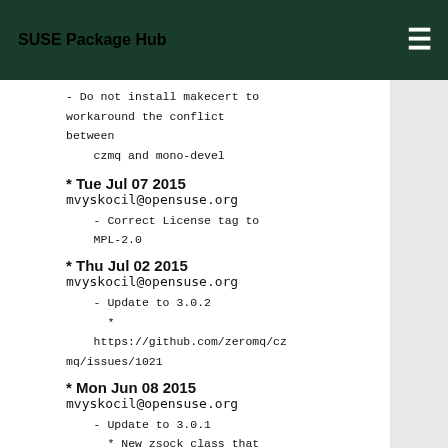SUSE Package Hub
- Do not install makecert to workaround the conflict between
    czmq and mono-devel
* Tue Jul 07 2015
mvyskocil@opensuse.org
    - Correct License tag to
    MPL-2.0
* Thu Jul 02 2015
mvyskocil@opensuse.org
    - Update to 3.0.2
      *
    https://github.com/zeromq/czmq/issues/1021
* Mon Jun 08 2015
mvyskocil@opensuse.org
    - Update to 3.0.1
      * New zsock class that works without contexts, and has smart
        constructors (create and connect/bind in one step).
      * New zactor class for multithreaded development, evolved from
        old zthread attached threads.
      * New zgossip discovery